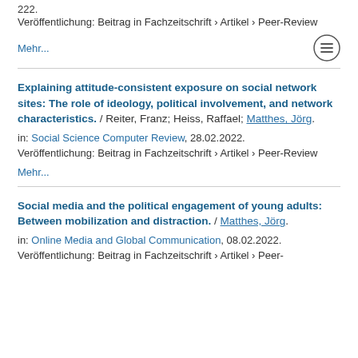222.
Veröffentlichung: Beitrag in Fachzeitschrift › Artikel › Peer-Review
Mehr...
Explaining attitude-consistent exposure on social network sites: The role of ideology, political involvement, and network characteristics. / Reiter, Franz; Heiss, Raffael; Matthes, Jörg.
in: Social Science Computer Review, 28.02.2022.
Veröffentlichung: Beitrag in Fachzeitschrift › Artikel › Peer-Review
Mehr...
Social media and the political engagement of young adults: Between mobilization and distraction. / Matthes, Jörg.
in: Online Media and Global Communication, 08.02.2022.
Veröffentlichung: Beitrag in Fachzeitschrift › Artikel › Peer-